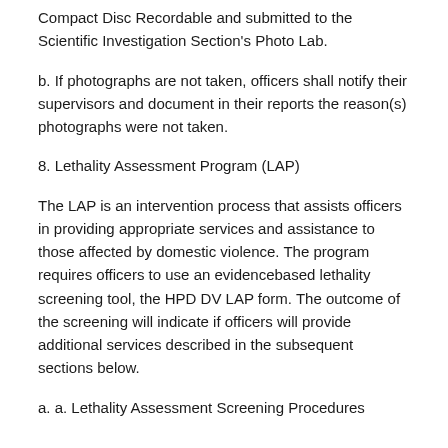Compact Disc Recordable and submitted to the Scientific Investigation Section's Photo Lab.
b. If photographs are not taken, officers shall notify their supervisors and document in their reports the reason(s) photographs were not taken.
8. Lethality Assessment Program (LAP)
The LAP is an intervention process that assists officers in providing appropriate services and assistance to those affected by domestic violence. The program requires officers to use an evidencebased lethality screening tool, the HPD DV LAP form. The outcome of the screening will indicate if officers will provide additional services described in the subsequent sections below.
a. a. Lethality Assessment Screening Procedures